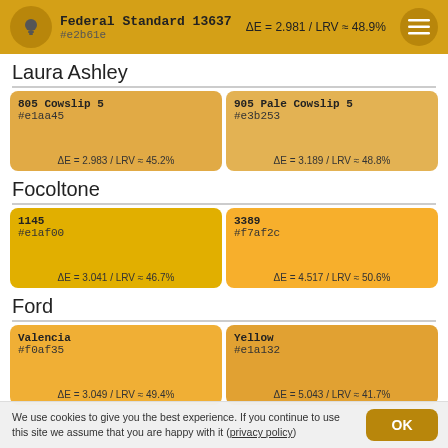Federal Standard 13637
#e2b61e
ΔE = 2.981 / LRV ≈ 48.9%
Laura Ashley
| Color 1 | Color 2 |
| --- | --- |
| 805 Cowslip 5
#e1aa45
ΔE = 2.983 / LRV ≈ 45.2% | 905 Pale Cowslip 5
#e3b253
ΔE = 3.189 / LRV ≈ 48.8% |
Focoltone
| Color 1 | Color 2 |
| --- | --- |
| 1145
#e1af00
ΔE = 3.041 / LRV ≈ 46.7% | 3389
#f7af2c
ΔE = 4.517 / LRV ≈ 50.6% |
Ford
| Color 1 | Color 2 |
| --- | --- |
| Valencia
#f0af35
ΔE = 3.049 / LRV ≈ 49.4% | Yellow
#e1a132
ΔE = 5.043 / LRV ≈ 41.7% |
We use cookies to give you the best experience. If you continue to use this site we assume that you are happy with it (privacy policy)